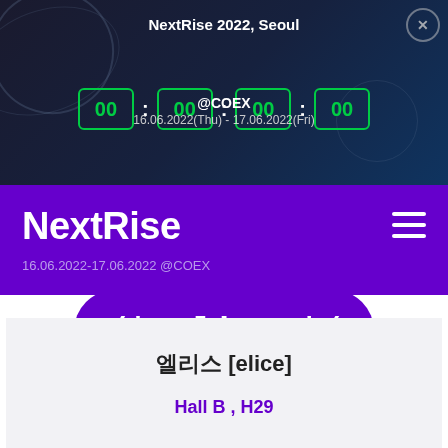NextRise 2022, Seoul
00 : 00 : 00 : 00
@COEX
16.06.2022(Thu) - 17.06.2022(Fri)
NextRise
16.06.2022-17.06.2022 @COEX
[Figure (logo): Elice logo: /* elice */ on a purple rounded blob shape]
엘리스 [elice]
Hall B , H29